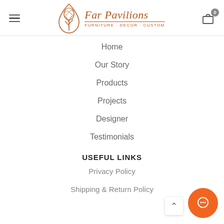[Figure (logo): Far Pavilions logo with teardrop tree illustration and text 'Far Pavilions Furniture · Decor · Custom' in brown/copper color]
Home
Our Story
Products
Projects
Designer
Testimonials
USEFUL LINKS
Privacy Policy
Shipping & Return Policy